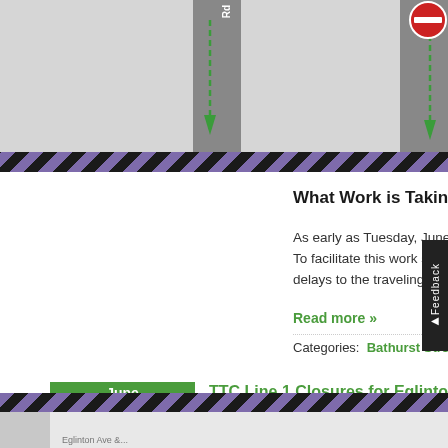[Figure (map): Partial map showing road intersections with dashed green arrows indicating traffic direction, purple/black hazard striped borders. Partial view cropped at top.]
What Work is Taking Place?
As early as Tuesday, June 7, 2022, crews at Fore… To facilitate this work safely, Eglinton Avenue will b… delays to the traveling public, this work will take p…
Read more »
Categories:  Bathurst Street  Construction Updates
TTC Line 1 Closures for Eglinton Crosstown LRT Construction Work… 11-June 12, 2022)
[Figure (map): Bottom partial map strip with purple/black hazard striped border at top and grey road area below, partially cropped.]